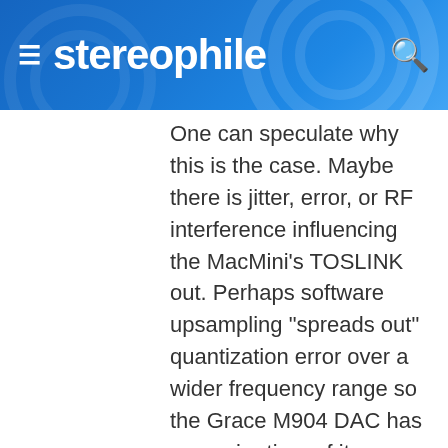stereophile
One can speculate why this is the case. Maybe there is jitter, error, or RF interference influencing the MacMini's TOSLINK out. Perhaps software upsampling "spreads out" quantization error over a wider frequency range so the Grace M904 DAC has an easier time of it, even though it is also upsampling (Mhz range). Perhaps the FF400 transport produces cleaner and, comparatively speaking, jitter